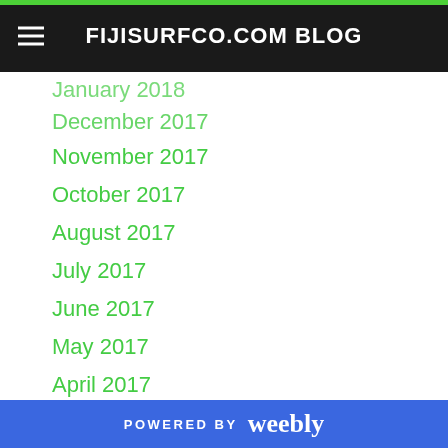FIJISURFCO.COM BLOG
January 2018
December 2017
November 2017
October 2017
August 2017
July 2017
June 2017
May 2017
April 2017
January 2017
December 2016
November 2016
October 2016
September 2016
August 2016
July 2016
June 2016
POWERED BY weebly